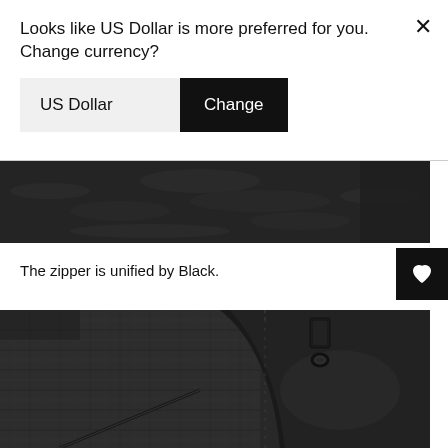Looks like US Dollar is more preferred for you. Change currency?
US Dollar
Change
[Figure (photo): Close-up of dark textured leather material, top strip]
The zipper is unified by Black.
[Figure (photo): Close-up of black leather boot showing a zipper detail with black zipper pull, smooth leather panel and textured fabric, stitching visible]